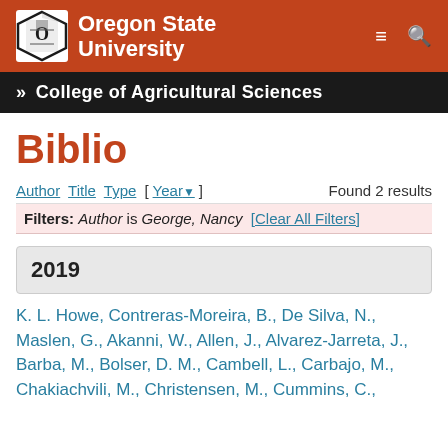[Figure (logo): Oregon State University shield logo and wordmark on orange/red header bar with hamburger menu and search icons]
» College of Agricultural Sciences
Biblio
Author Title Type [ Year▼ ]    Found 2 results
Filters: Author is George, Nancy  [Clear All Filters]
2019
K. L. Howe, Contreras-Moreira, B., De Silva, N., Maslen, G., Akanni, W., Allen, J., Alvarez-Jarreta, J., Barba, M., Bolser, D. M., Cambell, L., Carbajo, M., Chakiachvili, M., Christensen, M., Cummins, C.,